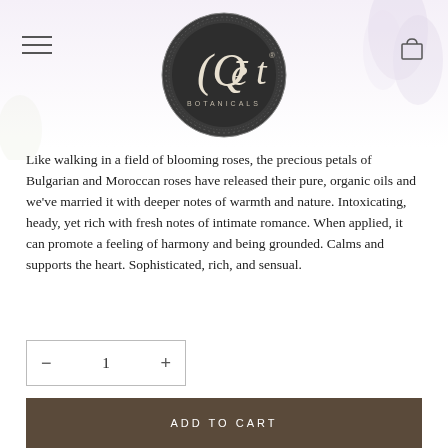[Figure (logo): Qet Botanicals circular dark logo with ornate border]
Like walking in a field of blooming roses, the precious petals of Bulgarian and Moroccan roses have released their pure, organic oils and we've married it with deeper notes of warmth and nature. Intoxicating, heady, yet rich with fresh notes of intimate romance. When applied, it can promote a feeling of harmony and being grounded. Calms and supports the heart. Sophisticated, rich, and sensual.
[Figure (other): Quantity selector with minus button, 1, and plus button inside a bordered box]
[Figure (other): ADD TO CART dark brown button]